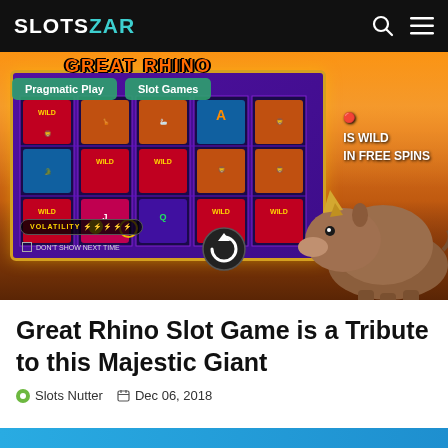SLOTS ZAR
[Figure (screenshot): Great Rhino slot game screenshot showing reels with WILD symbols, animals, playing card symbols. Tags 'Pragmatic Play' and 'Slot Games' overlaid. Rhino character on the right side. Text 'IS WILD IN FREE SPINS' visible. Volatility indicator and 'DON'T SHOW NEXT TIME' at bottom. Spin button visible.]
Great Rhino Slot Game is a Tribute to this Majestic Giant
Slots Nutter  Dec 06, 2018